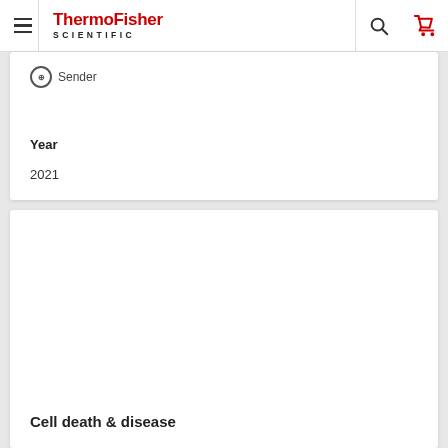ThermoFisher SCIENTIFIC
⊕ Sender
Year
2021
Cell death & disease